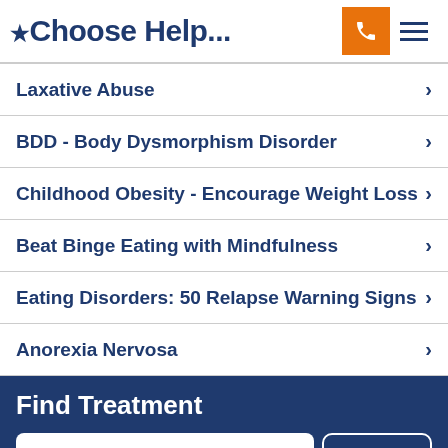*Choose Help...
Laxative Abuse
BDD - Body Dysmorphism Disorder
Childhood Obesity - Encourage Weight Loss
Beat Binge Eating with Mindfulness
Eating Disorders: 50 Relapse Warning Signs
Anorexia Nervosa
Find Treatment
Enter Location
Search
Browse by region »